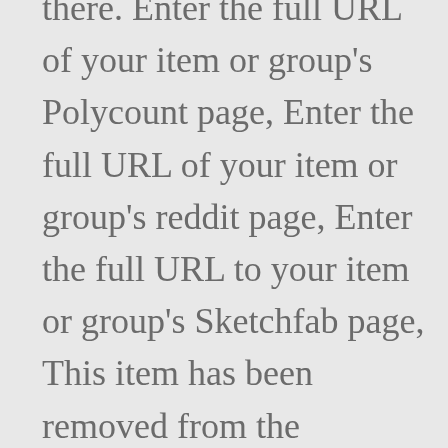there. Enter the full URL of your item or group's Polycount page, Enter the full URL of your item or group's reddit page, Enter the full URL to your item or group's Sketchfab page, This item has been removed from the community because it violates Steam Community & Content Guidelines. Des meeples additionnels (gris et orange) pour joueur jusqu'à 6 joueurs à The Island ! Inslee also announced a three-week extension of the state's current restrictions which will now be in place until January 4, ... 8 ans et + Âge. With results being released roughly every two weeks, we've seen considerable progress made at the Island in just one month. Jay Inslee announced on Dec. 8, additional